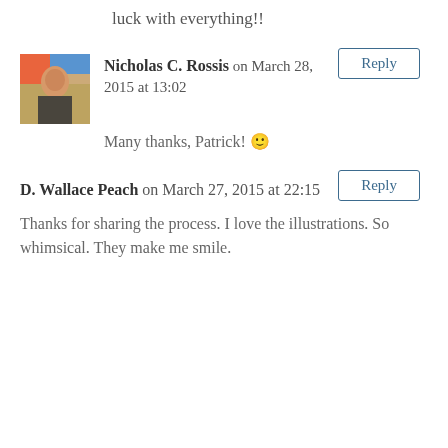luck with everything!!
Reply
Nicholas C. Rossis on March 28, 2015 at 13:02
[Figure (photo): Profile photo of Nicholas C. Rossis]
Many thanks, Patrick! 🙂
Reply
D. Wallace Peach on March 27, 2015 at 22:15
Thanks for sharing the process. I love the illustrations. So whimsical. They make me smile.